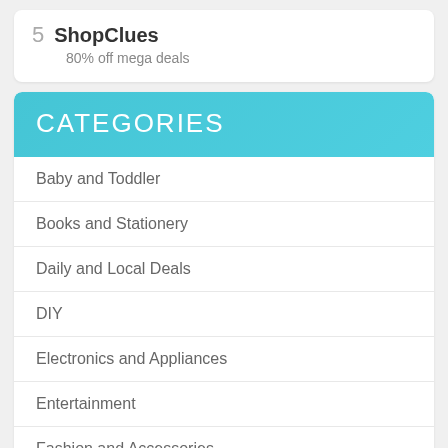5  ShopClues
80% off mega deals
CATEGORIES
Baby and Toddler
Books and Stationery
Daily and Local Deals
DIY
Electronics and Appliances
Entertainment
Fashion and Accessories
Food and Wine
Gifts and Gadgets